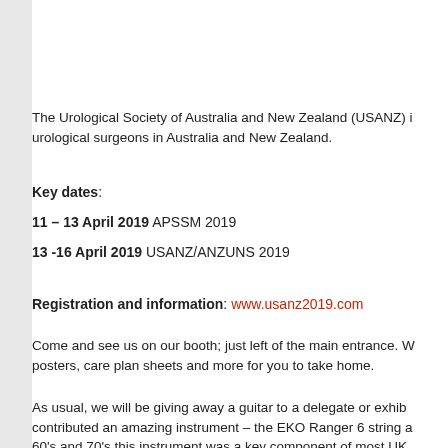The Urological Society of Australia and New Zealand (USANZ) ... urological surgeons in Australia and New Zealand.
Key dates:
11 – 13 April 2019 APSSM 2019
13 -16 April 2019 USANZ/ANZUNS 2019
Registration and information: www.usanz2019.com
Come and see us on our booth; just left of the main entrance. posters, care plan sheets and more for you to take home.
As usual, we will be giving away a guitar to a delegate or exhibitor who contributed an amazing instrument – the EKO Ranger 6 string a... 60's and 70's this instrument was a key component of most UK...